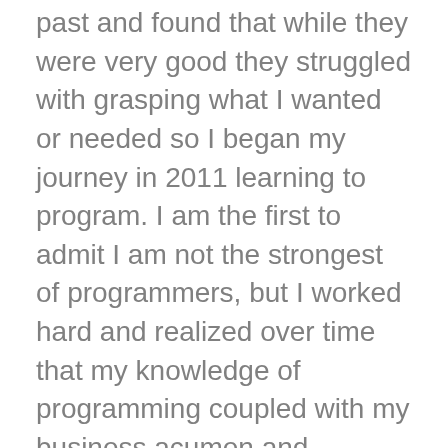past and found that while they were very good they struggled with grasping what I wanted or needed so I began my journey in 2011 learning to program. I am the first to admit I am not the strongest of programmers, but I worked hard and realized over time that my knowledge of programming coupled with my business acumen and marketing knowledge made me a powerful weapon that my customers could utilize and prosper from. So I started NS804, to do just that provide people with a reasonably cost effective solution to take advantage of the mobile revolution. Our motto is “Making Dreams A Reality” I believe in that and so do my staff. We want to make your Dream a reality and help you along the way to success. We know you have many options when choosing a Development partner and we are committed to demonstrate our it...